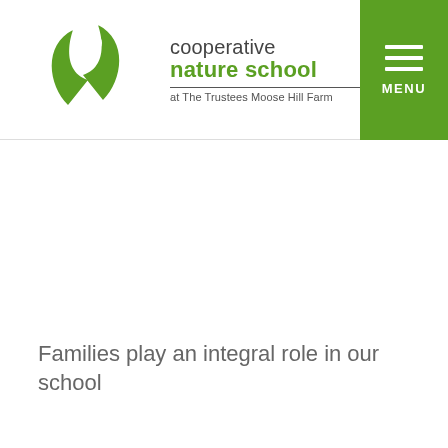cooperative nature school at The Trustees Moose Hill Farm | MENU
Families play an integral role in our school
"The level of communication is great! We